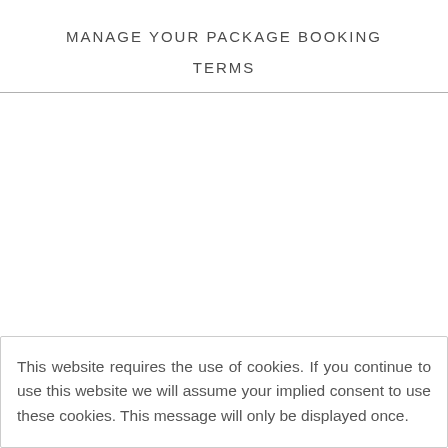MANAGE YOUR PACKAGE BOOKING TERMS
This website requires the use of cookies. If you continue to use this website we will assume your implied consent to use these cookies. This message will only be displayed once.